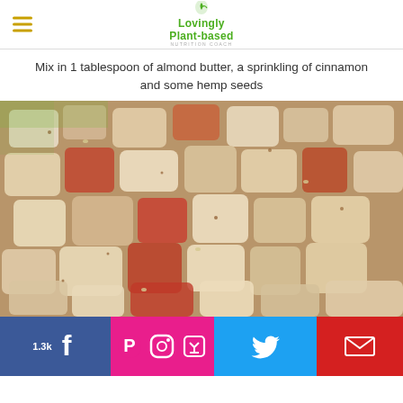Lovingly Plant-based
Mix in 1 tablespoon of almond butter, a sprinkling of cinnamon and some hemp seeds
[Figure (photo): Close-up photo of chopped fruit and nut pieces mixed together in a bowl, with cinnamon and hemp seeds visible on the pieces]
[Figure (infographic): Social sharing bar with Facebook (1.3k), Pinterest, Instagram, email sharing icons on pink/magenta background, Twitter icon on blue, and email icon on red]